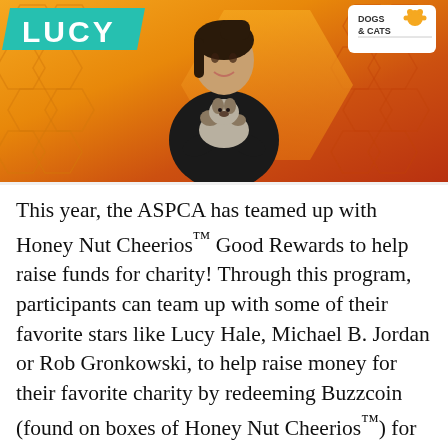[Figure (photo): Promotional banner with orange/amber honeycomb background. Woman in black turtleneck holding a small dog/puppy. 'LUCY' name badge in teal on top left. 'DOGS & CATS' badge with paw print icon on top right.]
This year, the ASPCA has teamed up with Honey Nut Cheerios™ Good Rewards to help raise funds for charity! Through this program, participants can team up with some of their favorite stars like Lucy Hale, Michael B. Jordan or Rob Gronkowski, to help raise money for their favorite charity by redeeming Buzzcoin (found on boxes of Honey Nut Cheerios™) for their team.